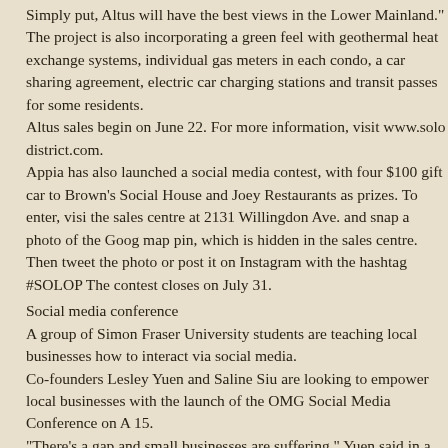Simply put, Altus will have the best views in the Lower Mainland."
The project is also incorporating a green feel with geothermal heat exchange systems, individual gas meters in each condo, a car sharing agreement, electric car charging stations and transit passes for some residents.
Altus sales begin on June 22. For more information, visit www.solo district.com.
Appia has also launched a social media contest, with four $100 gift car to Brown's Social House and Joey Restaurants as prizes. To enter, visi the sales centre at 2131 Willingdon Ave. and snap a photo of the Goog map pin, which is hidden in the sales centre.
Then tweet the photo or post it on Instagram with the hashtag #SOLOP The contest closes on July 31.
Social media conference
A group of Simon Fraser University students are teaching local businesses how to interact via social media.
Co-founders Lesley Yuen and Saline Siu are looking to empower local businesses with the launch of the OMG Social Media Conference on A 15.
"There's a gap and small businesses are suffering," Yuen said in a med release. "They want to sell to millenials, but they don't know how to re